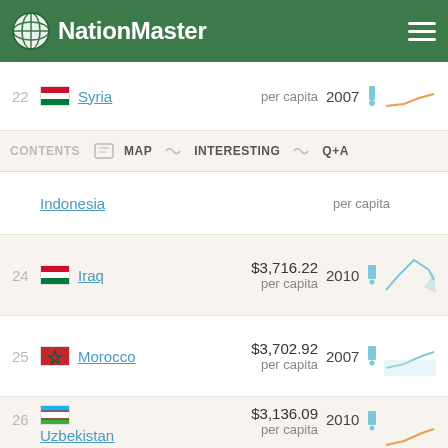NationMaster
22 Syria — per capita 2007
CONTENTS  MAP  INTERESTING  Q+A
Indonesia — per capita
24 Iraq $3,716.22 per capita 2010
25 Morocco $3,702.92 per capita 2007
26 Uzbekistan $3,136.09 per capita 2010
27 Yemen $2,529.85 per capita 2007
28 Pakistan $2,500.27 per capita 2007
29 Djibouti $2,361.08 2010